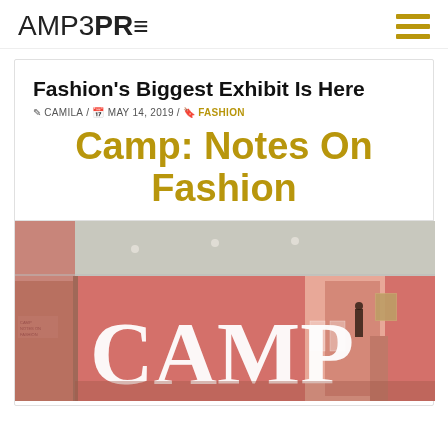AMP3PRE
Fashion's Biggest Exhibit Is Here
CAMILA / MAY 14, 2019 / FASHION
Camp: Notes On Fashion
[Figure (photo): Interior of the Camp: Notes On Fashion exhibit at a museum. Pink/salmon colored walls with large white 'CAMP' lettering on a wall. Gallery corridor visible in background.]